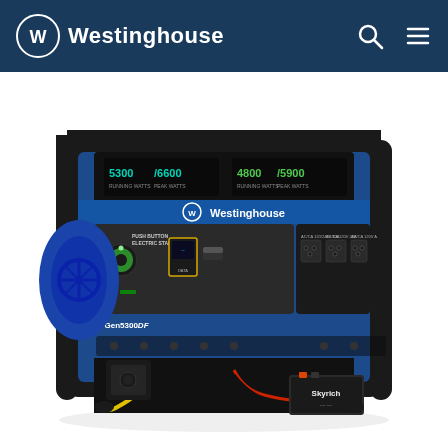Westinghouse
[Figure (photo): Westinghouse WGen5300DF dual fuel portable generator. Blue and black unit with metal frame/handles, control panel showing 5300/6600 and 4800/5900 watt displays, push button electric start, multiple AC outlets, and Skyrich battery. The generator has a blue body with Westinghouse logo, black metal roll cage, and visible engine components.]